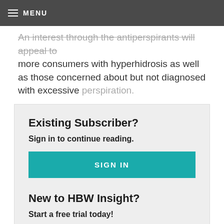MENU
An interest through the antiperspirants will appeal to more consumers with hyperhidrosis as well as those concerned about but not diagnosed with excessive perspiration.
Existing Subscriber?
Sign in to continue reading.
SIGN IN
New to HBW Insight?
Start a free trial today!
FREE TRIAL